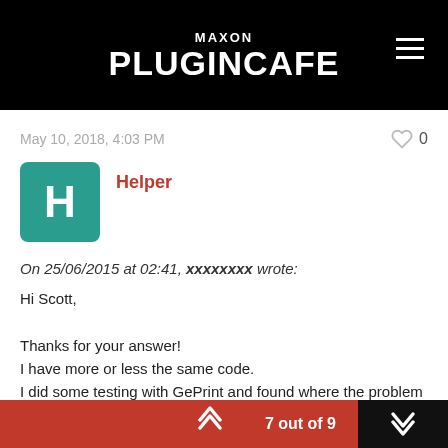MAXON PLUGINCAFE
May 10, 2018, 4:03 PM
Helper
On 25/06/2015 at 02:41, xxxxxxxx wrote:
Hi Scott,

Thanks for your answer!
I have more or less the same code.
I did some testing with GePrint and found where the problem is.
7 out of 9